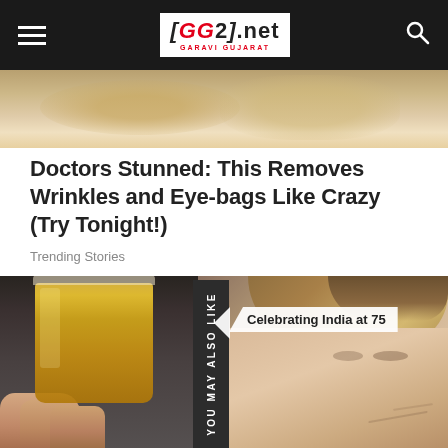GG2.net GARAVI GUJARAT
[Figure (photo): Close-up photo of wrinkled skin / eye area at top of article]
Doctors Stunned: This Removes Wrinkles and Eye-bags Like Crazy (Try Tonight!)
Trending Stories
[Figure (photo): Woman holding a glass of beer, smiling, with sidebar tab 'YOU MAY ALSO LIKE' and overlay label 'Celebrating India at 75']